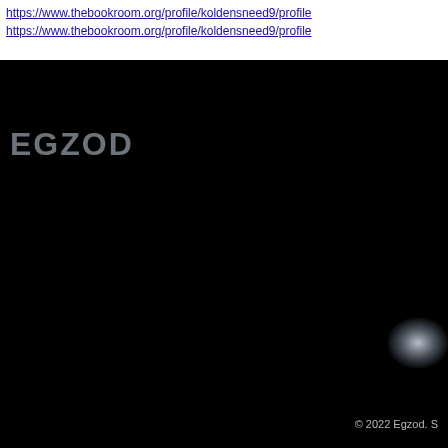https://www.thebookroom.org/profile/koldensneed9/profile
[Figure (logo): Egzod logo text in light gray on black background, stylized letters EGZOD]
[Figure (photo): Mostly black image with a blurred white/blue glow spot in the lower right corner]
© 2022 Egzod. S